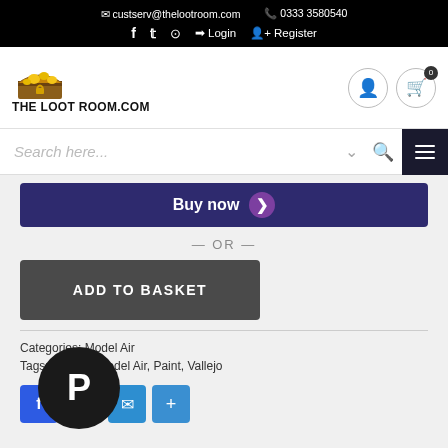custserv@thelootroom.com  0333 3580540  Login  Register
[Figure (logo): The Loot Room .com logo with treasure chest graphic]
Search here...
Buy now
— OR —
ADD TO BASKET
Categories: Model Air
Tags: & More, Model Air, Paint, Vallejo